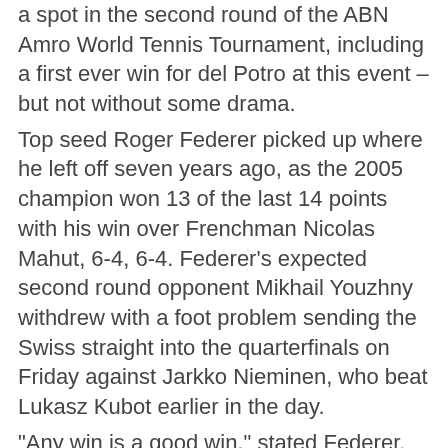a spot in the second round of the ABN Amro World Tennis Tournament, including a first ever win for del Potro at this event – but not without some drama.
Top seed Roger Federer picked up where he left off seven years ago, as the 2005 champion won 13 of the last 14 points with his win over Frenchman Nicolas Mahut, 6-4, 6-4. Federer's expected second round opponent Mikhail Youzhny withdrew with a foot problem sending the Swiss straight into the quarterfinals on Friday against Jarkko Nieminen, who beat Lukasz Kubot earlier in the day.
"Any win is a good win," stated Federer. "Frankly I'm glad to be in the quarterfinals. It's always tough to make the change from clay but after losing my last two singles matches [for Davis Cup], a win is great."